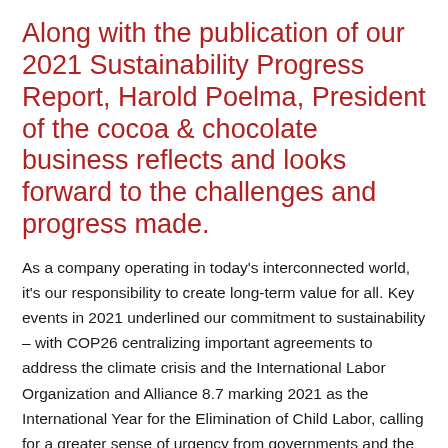Along with the publication of our 2021 Sustainability Progress Report, Harold Poelma, President of the cocoa & chocolate business reflects and looks forward to the challenges and progress made.
As a company operating in today's interconnected world, it's our responsibility to create long-term value for all. Key events in 2021 underlined our commitment to sustainability – with COP26 centralizing important agreements to address the climate crisis and the International Labor Organization and Alliance 8.7 marking 2021 as the International Year for the Elimination of Child Labor, calling for a greater sense of urgency from governments and the industry to protect